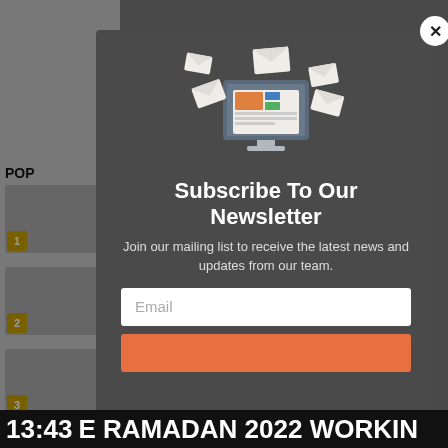[Figure (screenshot): Website background showing a sidebar with 'POP' label and numbered list items with thumbnail images]
[Figure (illustration): Newsletter subscription popup modal with email/envelope illustration, title 'Subscribe To Our Newsletter', descriptive text, email input field, and subscribe button]
Subscribe To Our Newsletter
Join our mailing list to receive the latest news and updates from our team.
13:43  E RAMADAN 2022 WORKIN